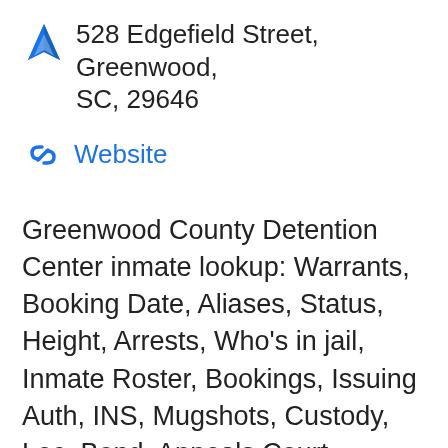528 Edgefield Street, Greenwood, SC, 29646
Website
Greenwood County Detention Center inmate lookup: Warrants, Booking Date, Aliases, Status, Height, Arrests, Who's in jail, Inmate Roster, Bookings, Issuing Auth, INS, Mugshots, Custody, Loc, Bond, Appeals Court, Release Date, Complaint.